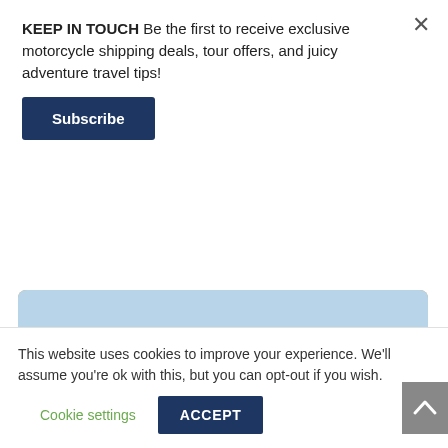KEEP IN TOUCH Be the first to receive exclusive motorcycle shipping deals, tour offers, and juicy adventure travel tips!
Subscribe
[Figure (photo): A motorcyclist fully loaded with luggage riding an adventure motorcycle through a dry desert landscape with sandy terrain and distant salt flats or dry lake visible on the horizon.]
This website uses cookies to improve your experience. We'll assume you're ok with this, but you can opt-out if you wish. Cookie settings ACCEPT